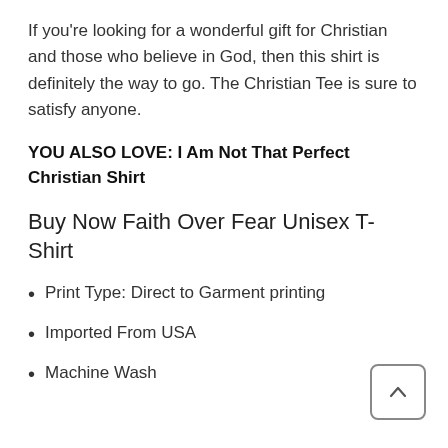If you’re looking for a wonderful gift for Christian and those who believe in God, then this shirt is definitely the way to go. The Christian Tee is sure to satisfy anyone.
YOU ALSO LOVE: I Am Not That Perfect Christian Shirt
Buy Now Faith Over Fear Unisex T-Shirt
Print Type: Direct to Garment printing
Imported From USA
Machine Wash